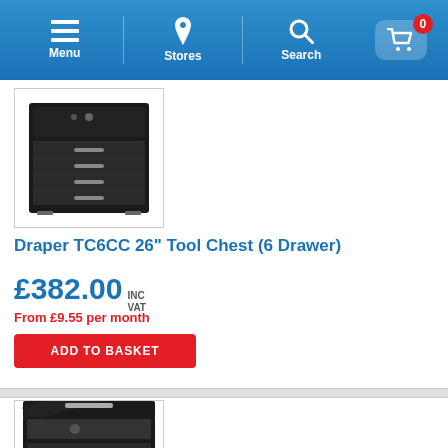Menu | Stores | Search | Basket (0)
[Figure (photo): Draper TC6CC 26 inch black tool chest with 6 drawers, viewed from the front at a slight angle]
Draper TC6CC 26" Tool Chest (6 Drawer)
£382.00 INC VAT
From £9.55 per month
ADD TO BASKET
[Figure (photo): Second product image showing a black tool chest with an open lid, partially visible at bottom of page]